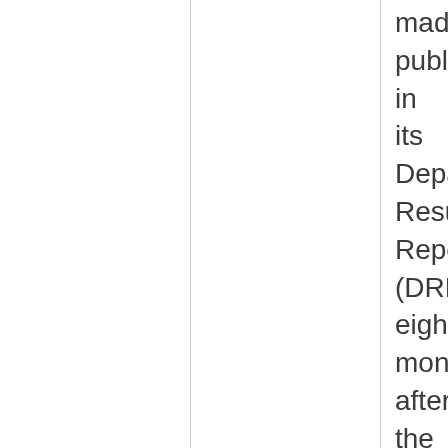made public in its Departmental Results Report (DRR) eight months after the end of the fiscal year, which fails to meet the TADAT standard of six months. Strategic and operational plans are made public in advance of the period covered by the plans. Financial